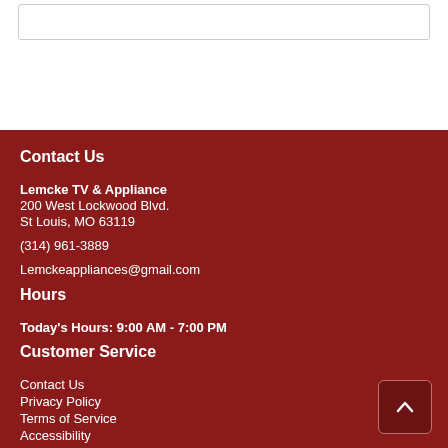Contact Us
Lemcke TV & Appliance
200 West Lockwood Blvd.
St Louis, MO 63119
(314) 961-3889
Lemckeappliances@gmail.com
Hours
Today's Hours: 9:00 AM - 7:00 PM
Customer Service
Contact Us
Privacy Policy
Terms of Service
Accessibility
Site Map